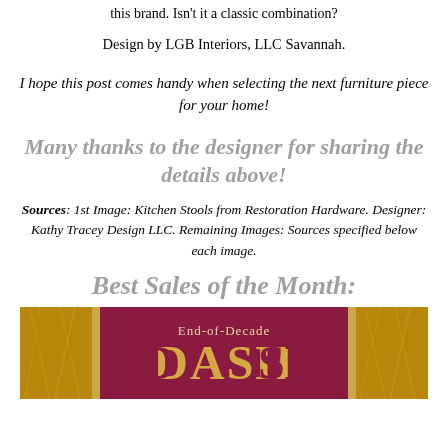this brand. Isn't it a classic combination?
Design by LGB Interiors, LLC Savannah.
I hope this post comes handy when selecting the next furniture piece for your home!
Many thanks to the designer for sharing the details above!
Sources: 1st Image: Kitchen Stools from Restoration Hardware. Designer: Kathy Tracey Design LLC. Remaining Images: Sources specified below each image.
Best Sales of the Month:
[Figure (photo): Banner advertisement for 'End-of-Decade DASH' sale with gold glittery background and maroon/magenta center panel with large gold text 'DASH'.]